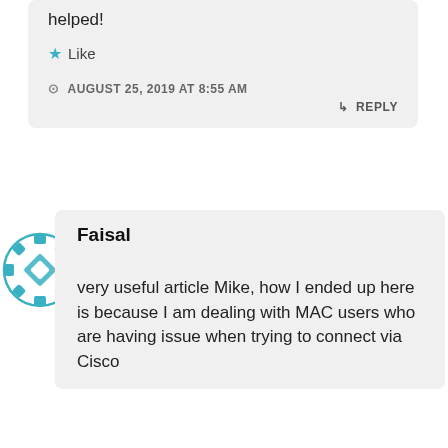helped!
★ Like
AUGUST 25, 2019 AT 8:55 AM
↳ REPLY
[Figure (illustration): Teal/turquoise decorative avatar icon with geometric pattern]
Faisal
very useful article Mike, how I ended up here is because I am dealing with MAC users who are having issue when trying to connect via Cisco